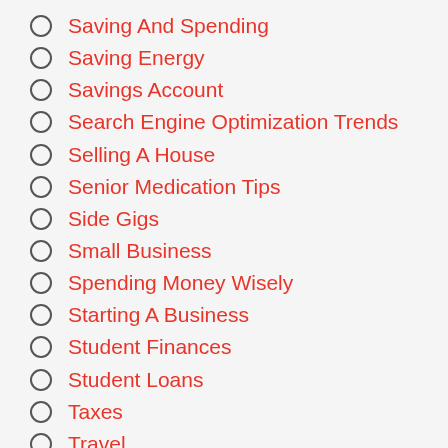Saving And Spending
Saving Energy
Savings Account
Search Engine Optimization Trends
Selling A House
Senior Medication Tips
Side Gigs
Small Business
Spending Money Wisely
Starting A Business
Student Finances
Student Loans
Taxes
Travel
Unemployment